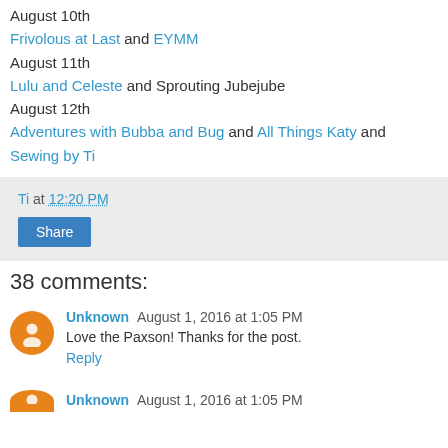August 10th
Frivolous at Last and EYMM
August 11th
Lulu and Celeste and Sprouting Jubejube
August 12th
Adventures with Bubba and Bug and All Things Katy and Sewing by Ti
Ti at 12:20 PM
Share
38 comments:
Unknown August 1, 2016 at 1:05 PM
Love the Paxson! Thanks for the post.
Reply
Unknown August 1, 2016 at 1:05 PM